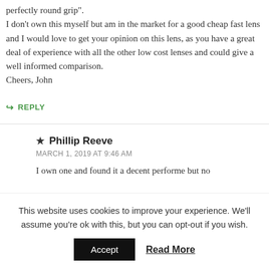perfectly round grip".
I don't own this myself but am in the market for a good cheap fast lens and I would love to get your opinion on this lens, as you have a great deal of experience with all the other low cost lenses and could give a well informed comparison.
Cheers, John
↪ REPLY
★ Phillip Reeve
MARCH 1, 2019 AT 9:46 AM
I own one and found it a decent performe but no
This website uses cookies to improve your experience. We'll assume you're ok with this, but you can opt-out if you wish.
Accept   Read More